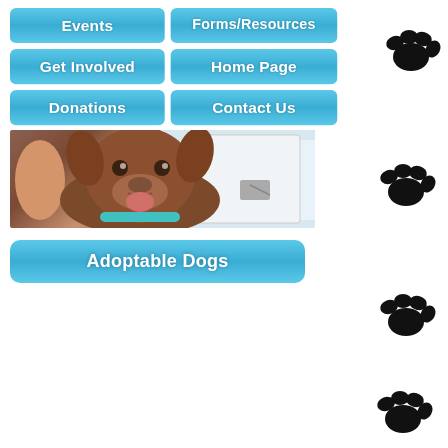[Figure (screenshot): Navigation buttons: Events, Forms/Resources, Get Involved, Home Page, Donations, Contact Us — blue rounded buttons]
[Figure (photo): A brown dog smiling with tongue out, wearing a teal collar, held by a person near a white appliance]
[Figure (screenshot): Blue navigation button labeled Adoptable Dogs]
[Figure (illustration): Four paw print icons in black at right side and bottom right of page]